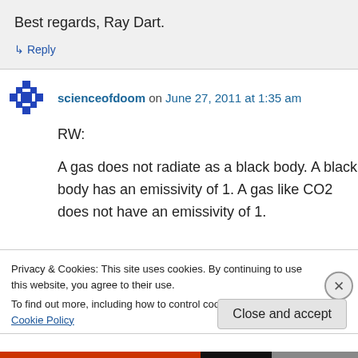Best regards, Ray Dart.
↳ Reply
scienceofdoom on June 27, 2011 at 1:35 am
RW:
A gas does not radiate as a black body. A black body has an emissivity of 1. A gas like CO2 does not have an emissivity of 1.
Privacy & Cookies: This site uses cookies. By continuing to use this website, you agree to their use.
To find out more, including how to control cookies, see here: Cookie Policy
Close and accept